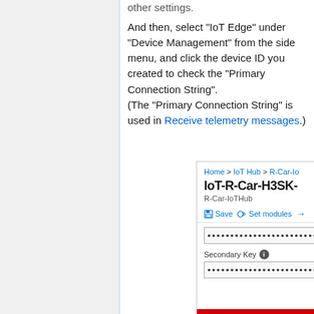other settings.
And then, select "IoT Edge" under "Device Management" from the side menu, and click the device ID you created to check the "Primary Connection String".
(The "Primary Connection String" is used in Receive telemetry messages.)
[Figure (screenshot): Azure IoT Hub portal screenshot showing IoT-R-Car-H3SK- device page. Breadcrumb: Home > IoT Hub > R-Car-Io. Subtitle: R-Car-IoTHub. Toolbar with Save and Set modules buttons. Two password fields (masked) and a Secondary Key label with info icon. Red bar at the bottom.]